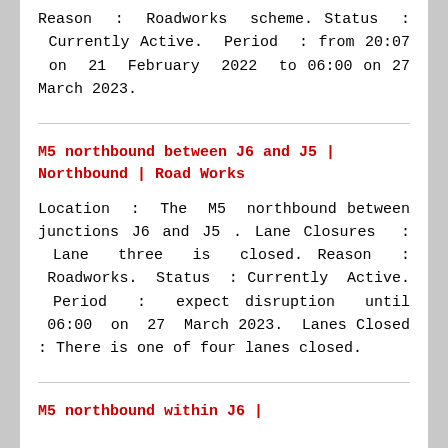Reason : Roadworks scheme. Status : Currently Active. Period : from 20:07 on 21 February 2022 to 06:00 on 27 March 2023.
M5 northbound between J6 and J5 | Northbound | Road Works
Location : The M5 northbound between junctions J6 and J5 . Lane Closures : Lane three is closed. Reason : Roadworks. Status : Currently Active. Period : expect disruption until 06:00 on 27 March 2023. Lanes Closed : There is one of four lanes closed.
M5 northbound within J6 | ...